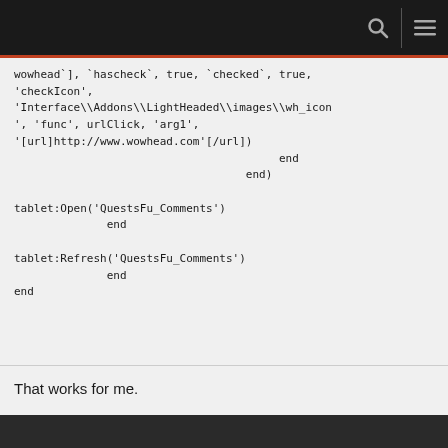[navigation bar with search and menu icons]
wowhead`], `hascheck`, true, `checked`, true,
'checkIcon',
'Interface\\Addons\\LightHeaded\\images\\wh_icon
', 'func', urlClick, 'arg1',
'[url]http://www.wowhead.com'[/url])
                                        end
                                   end)

tablet:Open('QuestsFu_Comments')
              end

tablet:Refresh('QuestsFu_Comments')
              end
end
That works for me.